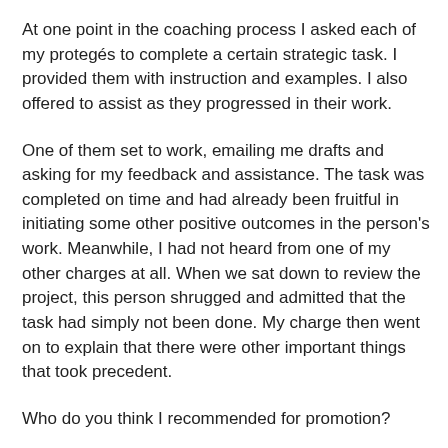At one point in the coaching process I asked each of my protegés to complete a certain strategic task. I provided them with instruction and examples. I also offered to assist as they progressed in their work.
One of them set to work, emailing me drafts and asking for my feedback and assistance. The task was completed on time and had already been fruitful in initiating some other positive outcomes in the person's work. Meanwhile, I had not heard from one of my other charges at all. When we sat down to review the project, this person shrugged and admitted that the task had simply not been done. My charge then went on to explain that there were other important things that took precedent.
Who do you think I recommended for promotion?
Who do you think received a promotion?